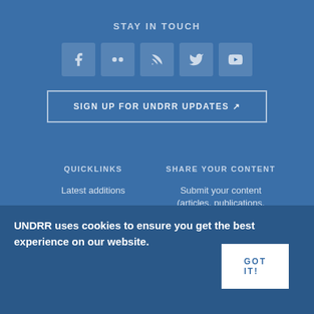STAY IN TOUCH
[Figure (infographic): Row of 5 social media icon buttons: Facebook, Flickr, RSS, Twitter, YouTube]
SIGN UP FOR UNDRR UPDATES
QUICKLINKS
Latest additions
Understanding disaster risks
SHARE YOUR CONTENT
Submit your content (articles, publications, events, jobs, etc.)
UNDRR uses cookies to ensure you get the best experience on our website.
GOT IT!